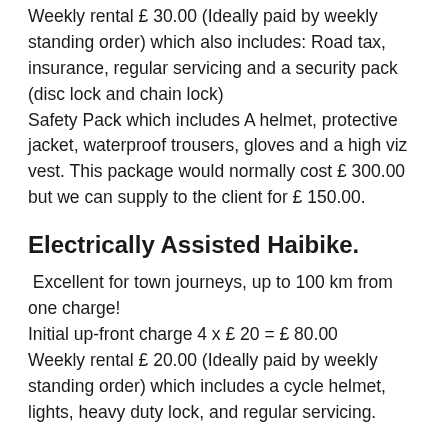Weekly rental £ 30.00 (Ideally paid by weekly standing order) which also includes: Road tax, insurance, regular servicing and a security pack (disc lock and chain lock)
Safety Pack which includes A helmet, protective jacket, waterproof trousers, gloves and a high viz vest. This package would normally cost £ 300.00 but we can supply to the client for £ 150.00.
Electrically Assisted Haibike.
Excellent for town journeys, up to 100 km from one charge!
Initial up-front charge 4 x £ 20 = £ 80.00
Weekly rental £ 20.00 (Ideally paid by weekly standing order) which includes a cycle helmet, lights, heavy duty lock, and regular servicing.